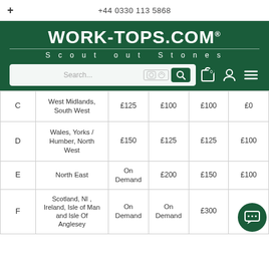+ | +44 0330 113 5868
[Figure (logo): WORK-TOPS.COM logo with tagline 'Scout out Stones' and search bar on dark green background]
| Zone | Region | 1 Slab | 2 Slabs | 3 Slabs | 4+ Slabs |
| --- | --- | --- | --- | --- | --- |
| C | West Midlands, South West | £125 | £100 | £100 | £0 |
| D | Wales, Yorks / Humber, North West | £150 | £125 | £125 | £100 |
| E | North East | On Demand | £200 | £150 | £100 |
| F | Scotland, NI , Ireland, Isle of Man and Isle Of Anglesey | On Demand | On Demand | £300 |  |